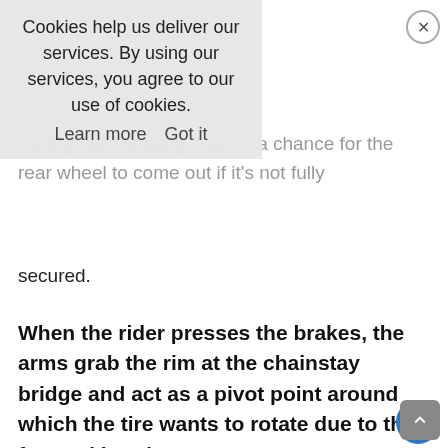Wheel Security
During hard braking, there's a chance for the rear wheel to come out if it's not fully secured.
When the rider presses the brakes, the arms grab the rim at the chainstay bridge and act as a pivot point around which the tire wants to rotate due to the forward inertia.
During extreme braking, the force may be strong enough to overcome the clamping force of the quick-release, and the wheel may come loose or even escape from the
Cookies help us deliver our services. By using our services, you agree to our use of cookies. Learn more  Got it